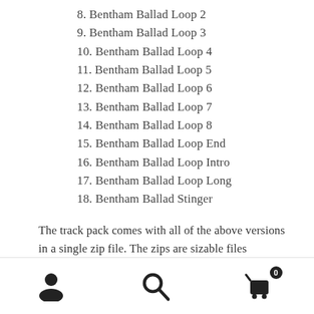8. Bentham Ballad Loop 2
9. Bentham Ballad Loop 3
10. Bentham Ballad Loop 4
11. Bentham Ballad Loop 5
12. Bentham Ballad Loop 6
13. Bentham Ballad Loop 7
14. Bentham Ballad Loop 8
15. Bentham Ballad Loop End
16. Bentham Ballad Loop Intro
17. Bentham Ballad Loop Long
18. Bentham Ballad Stinger
The track pack comes with all of the above versions in a single zip file. The zips are sizable files (several hundred megabytes typically) so please make sure you have a good